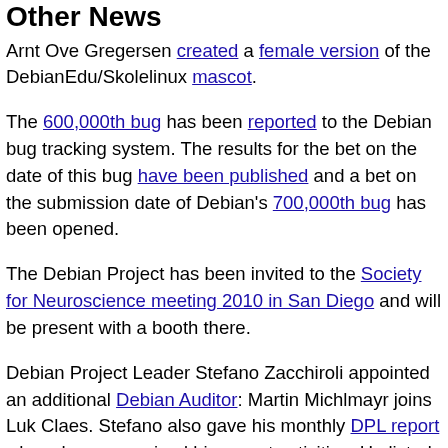Other News
Arnt Ove Gregersen created a female version of the DebianEdu/Skolelinux mascot.
The 600,000th bug has been reported to the Debian bug tracking system. The results for the bet on the date of this bug have been published and a bet on the submission date of Debian's 700,000th bug has been opened.
The Debian Project has been invited to the Society for Neuroscience meeting 2010 in San Diego and will be present with a booth there.
Debian Project Leader Stefano Zacchiroli appointed an additional Debian Auditor: Martin Michlmayr joins Luk Claes. Stefano also gave his monthly DPL report where he summarised his recent activities. He listed a number of interesting interviews and talks he gave, what money has been spent on, and his communication with other teams inside...